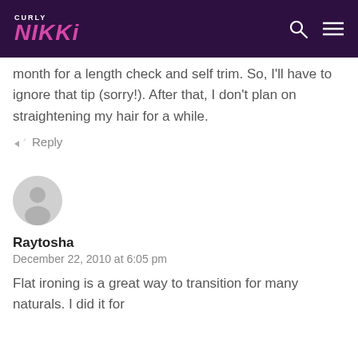CURLY NIKKI
month for a length check and self trim. So, I'll have to ignore that tip (sorry!). After that, I don't plan on straightening my hair for a while.
↩ Reply
[Figure (illustration): Default user avatar circle icon, gray background]
Raytosha
December 22, 2010 at 6:05 pm
Flat ironing is a great way to transition for many naturals. I did it for